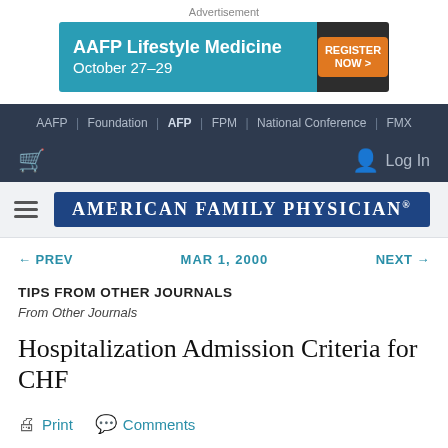Advertisement
[Figure (other): AAFP Lifestyle Medicine October 27-29 banner ad with Register Now button]
AAFP | Foundation | AFP | FPM | National Conference | FMX
Log In
[Figure (logo): American Family Physician logo in navy blue box]
← PREV   MAR 1, 2000   NEXT →
TIPS FROM OTHER JOURNALS
From Other Journals
Hospitalization Admission Criteria for CHF
Print   Comments